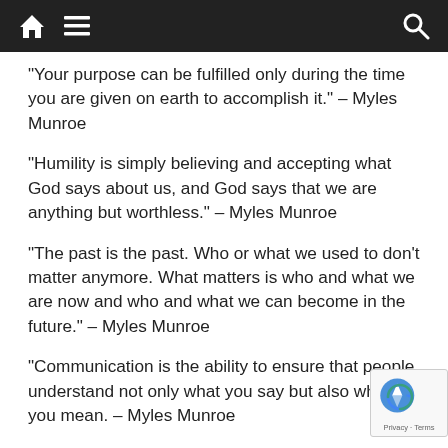Home | Menu | Search
“Your purpose can be fulfilled only during the time you are given on earth to accomplish it.” – Myles Munroe
“Humility is simply believing and accepting what God says about us, and God says that we are anything but worthless.” – Myles Munroe
“The past is the past. Who or what we used to don’t matter anymore. What matters is who and what we are now and who and what we can become in the future.” – Myles Munroe
“Communication is the ability to ensure that people understand not only what you say but also wha… you mean. – Myles Munroe
“It is also the ability to listen to and understand